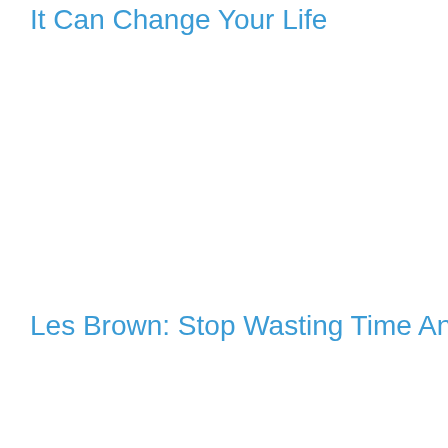It Can Change Your Life
Les Brown: Stop Wasting Time And Start